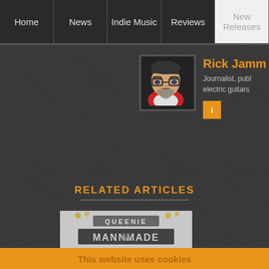Home | News | Indie Music | Reviews | New Releases
Rick Jamm
Journalist, publ electric guitars
RELATED ARTICLES
[Figure (photo): Queenie Mannmade album artwork thumbnail]
This website uses cookies
This website uses cookies to improve your experience. We'll assume you're ok with this, but you can opt-out if you wish.
Accept | Reject | Read More